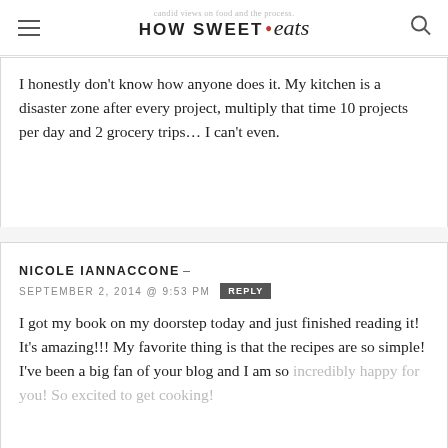HOW SWEET eats
I honestly don't know how anyone does it. My kitchen is a disaster zone after every project, multiply that time 10 projects per day and 2 grocery trips… I can't even.
NICOLE IANNACCONE –
SEPTEMBER 2, 2014 @ 9:53 PM
I got my book on my doorstep today and just finished reading it! It's amazing!!! My favorite thing is that the recipes are so simple! I've been a big fan of your blog and I am so incredibly happy for you! So excited to get cooking!